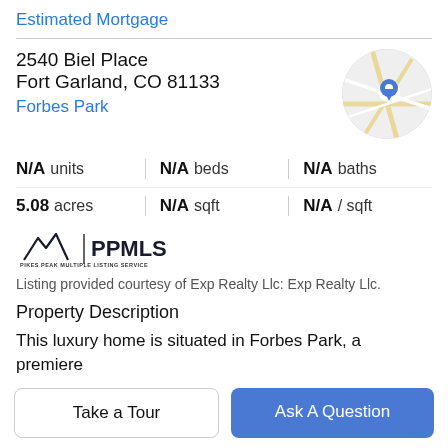Estimated Mortgage
2540 Biel Place
Fort Garland, CO 81133
Forbes Park
[Figure (map): Circular map thumbnail showing street map with a blue location pin marker]
N/A units   N/A beds   N/A baths
5.08 acres   N/A sqft   N/A / sqft
[Figure (logo): Pikes Peak Multiple Listing Service (PPMLS) logo with mountain peaks icon]
Listing provided courtesy of Exp Realty Llc: Exp Realty Llc.
Property Description
This luxury home is situated in Forbes Park, a premiere property located in Fort Garland. Sold completely
Take a Tour
Ask A Question